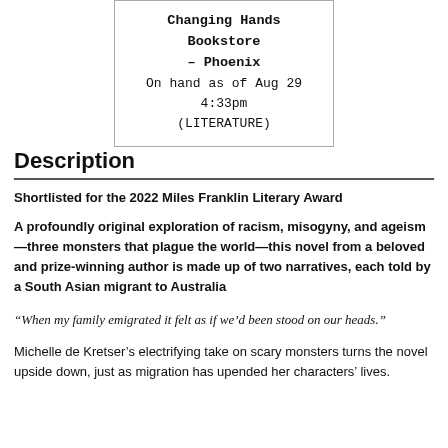Changing Hands Bookstore – Phoenix
On hand as of Aug 29 4:33pm
(LITERATURE)
Description
Shortlisted for the 2022 Miles Franklin Literary Award
A profoundly original exploration of racism, misogyny, and ageism—three monsters that plague the world—this novel from a beloved and prize-winning author is made up of two narratives, each told by a South Asian migrant to Australia
“When my family emigrated it felt as if we’d been stood on our heads.”
Michelle de Kretser’s electrifying take on scary monsters turns the novel upside down, just as migration has upended her characters’ lives.